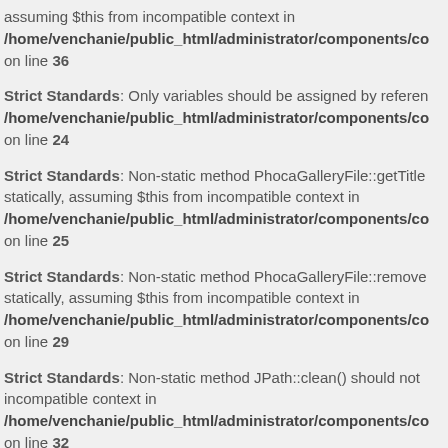assuming $this from incompatible context in /home/venchanie/public_html/administrator/components/co on line 36
Strict Standards: Only variables should be assigned by reference in /home/venchanie/public_html/administrator/components/co on line 24
Strict Standards: Non-static method PhocaGalleryFile::getTitle statically, assuming $this from incompatible context in /home/venchanie/public_html/administrator/components/co on line 25
Strict Standards: Non-static method PhocaGalleryFile::remove statically, assuming $this from incompatible context in /home/venchanie/public_html/administrator/components/co on line 29
Strict Standards: Non-static method JPath::clean() should not incompatible context in /home/venchanie/public_html/administrator/components/co on line 32